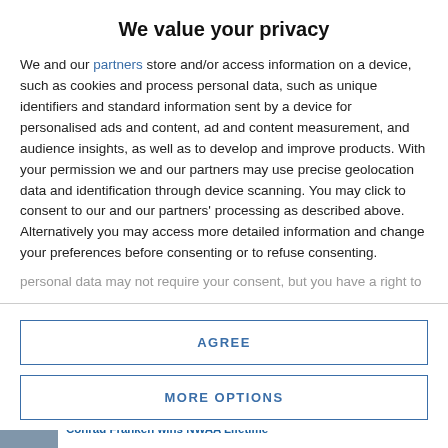We value your privacy
We and our partners store and/or access information on a device, such as cookies and process personal data, such as unique identifiers and standard information sent by a device for personalised ads and content, ad and content measurement, and audience insights, as well as to develop and improve products. With your permission we and our partners may use precise geolocation data and identification through device scanning. You may click to consent to our and our partners' processing as described above. Alternatively you may access more detailed information and change your preferences before consenting or to refuse consenting. Please note that some processing of your personal data may not require your consent, but you have a right to
AGREE
MORE OPTIONS
Conrad Franken wins NWAA Lifetime